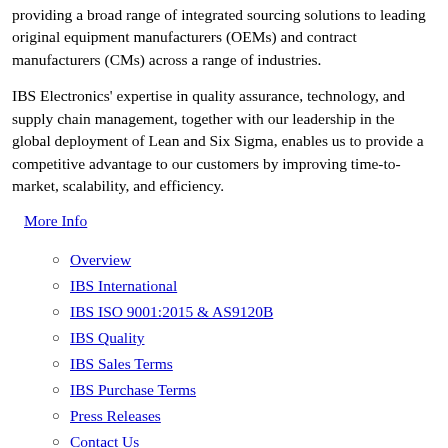providing a broad range of integrated sourcing solutions to leading original equipment manufacturers (OEMs) and contract manufacturers (CMs) across a range of industries.
IBS Electronics' expertise in quality assurance, technology, and supply chain management, together with our leadership in the global deployment of Lean and Six Sigma, enables us to provide a competitive advantage to our customers by improving time-to-market, scalability, and efficiency.
More Info
Overview
IBS International
IBS ISO 9001:2015 & AS9120B
IBS Quality
IBS Sales Terms
IBS Purchase Terms
Press Releases
Contact Us
Mexico